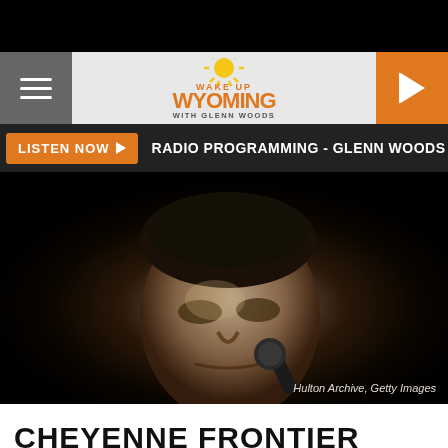[Figure (logo): Wake Up Wyoming with Glenn Woods radio show logo with orange sun graphic]
LISTEN NOW ▶ RADIO PROGRAMMING - GLENN WOODS WILL RETUR
[Figure (photo): Black and white close-up photo of a male performer singing into a microphone, looking upward. Credit: Hulton Archive, Getty Images]
Hulton Archive, Getty Images
CHEYENNE FRONTIER DAYS